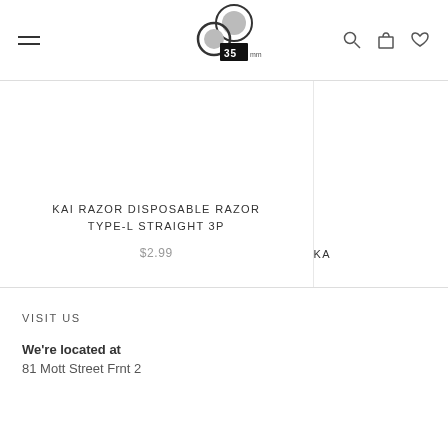[Figure (logo): 35mm shop logo with two overlapping circles and '35mm' text]
KAI RAZOR DISPOSABLE RAZOR TYPE-L STRAIGHT 3P
$2.99
KA
VISIT US
We're located at
81 Mott Street Frnt 2